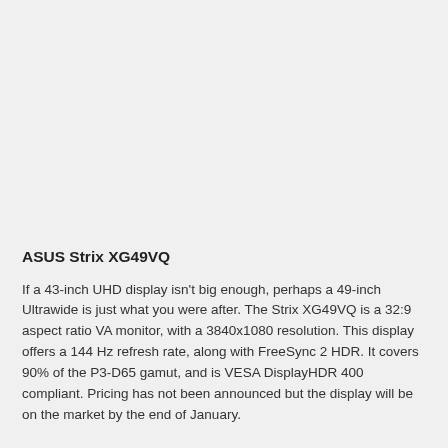ASUS Strix XG49VQ
If a 43-inch UHD display isn't big enough, perhaps a 49-inch Ultrawide is just what you were after. The Strix XG49VQ is a 32:9 aspect ratio VA monitor, with a 3840x1080 resolution. This display offers a 144 Hz refresh rate, along with FreeSync 2 HDR. It covers 90% of the P3-D65 gamut, and is VESA DisplayHDR 400 compliant. Pricing has not been announced but the display will be on the market by the end of January.